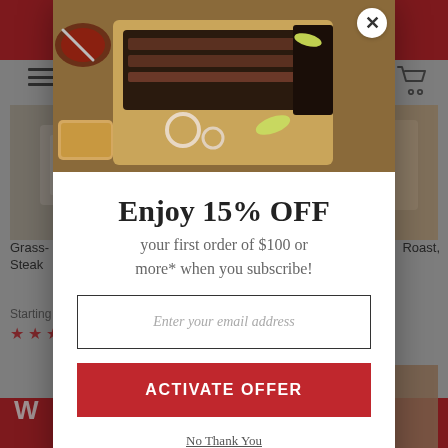[Figure (screenshot): Background website screenshot showing a BBQ/meat delivery website with red header bar, hamburger menu, cart icon, product images, and product listings for 'Grass- Steak' and 'Roast,' with star ratings and starting prices. A dark bar at the bottom with close button is visible.]
[Figure (photo): Food photo in modal popup showing sliced BBQ brisket on a wooden cutting board with sauce bowl, onion rings, and pickled peppers.]
Enjoy 15% OFF
your first order of $100 or more* when you subscribe!
Enter your email address
ACTIVATE OFFER
No Thank You